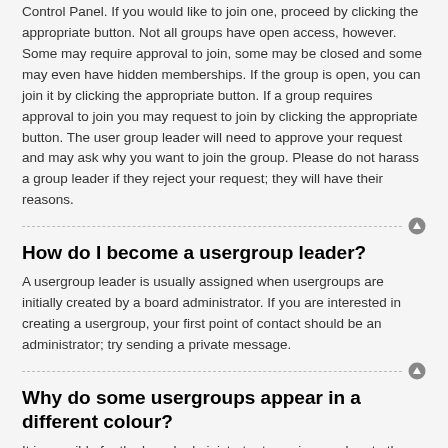Control Panel. If you would like to join one, proceed by clicking the appropriate button. Not all groups have open access, however. Some may require approval to join, some may be closed and some may even have hidden memberships. If the group is open, you can join it by clicking the appropriate button. If a group requires approval to join you may request to join by clicking the appropriate button. The user group leader will need to approve your request and may ask why you want to join the group. Please do not harass a group leader if they reject your request; they will have their reasons.
How do I become a usergroup leader?
A usergroup leader is usually assigned when usergroups are initially created by a board administrator. If you are interested in creating a usergroup, your first point of contact should be an administrator; try sending a private message.
Why do some usergroups appear in a different colour?
It is possible for the board administrator to assign a colour to the members of a usergroup to make it easy to identify the members of this group.
What is a “Default usergroup”?